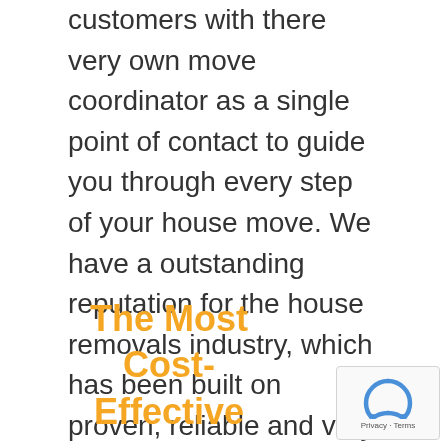customers with there very own move coordinator as a single point of contact to guide you through every step of your house move. We have a outstanding reputation for the house removals industry, which has been built on proven, reliable and very high quality removals service that MnM Removals provides to our customers. This means that when we complete your move you can sit back and relax and let our dedicated removals team lead the way. MnM Removals is rated the best home movers in Leicester Loughborough, Nottingham, Derby and all surrounding area's included.
The Most Cost-Effective House Removals in...